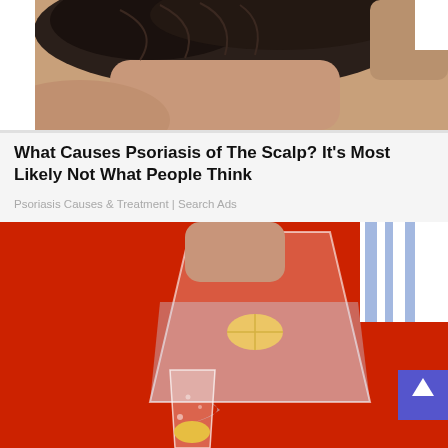[Figure (photo): Close-up photo of the back of a person's head/neck, showing scalp and dark hair, with another person's hand visible on the right]
What Causes Psoriasis of The Scalp? It's Most Likely Not What People Think
Psoriasis Causes & Treatment | Search Ads
[Figure (photo): Person in a red top pouring water with lemon slices from a glass pitcher into a tall glass, with bubbles visible]